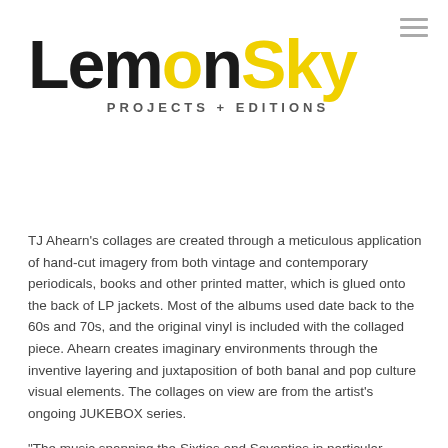[Figure (logo): LemonSky Projects + Editions logo — 'Lemon' in black bold sans-serif with 'o' in yellow, 'Sky' in yellow bold sans-serif, subtitle 'PROJECTS + EDITIONS' in spaced gray caps]
TJ Ahearn's collages are created through a meticulous application of hand-cut imagery from both vintage and contemporary periodicals, books and other printed matter, which is glued onto the back of LP jackets. Most of the albums used date back to the 60s and 70s, and the original vinyl is included with the collaged piece. Ahearn creates imaginary environments through the inventive layering and juxtaposition of both banal and pop culture visual elements. The collages on view are from the artist's ongoing JUKEBOX series.
"The music spanning the Sixties and Seventies in particular, represents a dynamic shift in the cultural strata of western civilization and beyond. Rock and Roll the prevailing musical genre signifying that era remains embedded in our contemporary society -- to the point of banality, as it is